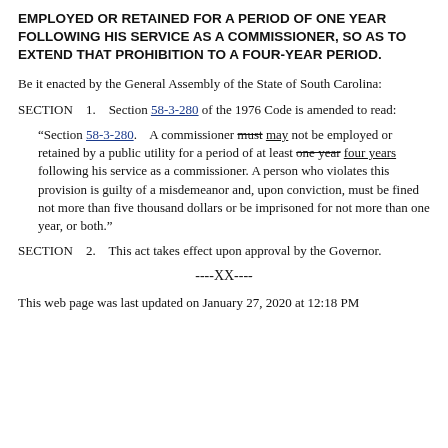EMPLOYED OR RETAINED FOR A PERIOD OF ONE YEAR FOLLOWING HIS SERVICE AS A COMMISSIONER, SO AS TO EXTEND THAT PROHIBITION TO A FOUR-YEAR PERIOD.
Be it enacted by the General Assembly of the State of South Carolina:
SECTION 1. Section 58-3-280 of the 1976 Code is amended to read:
"Section 58-3-280. A commissioner must may not be employed or retained by a public utility for a period of at least one year four years following his service as a commissioner. A person who violates this provision is guilty of a misdemeanor and, upon conviction, must be fined not more than five thousand dollars or be imprisoned for not more than one year, or both."
SECTION 2. This act takes effect upon approval by the Governor.
----XX----
This web page was last updated on January 27, 2020 at 12:18 PM